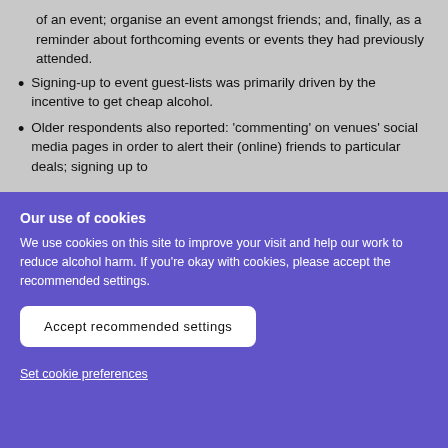of an event; organise an event amongst friends; and, finally, as a reminder about forthcoming events or events they had previously attended.
Signing-up to event guest-lists was primarily driven by the incentive to get cheap alcohol.
Older respondents also reported: 'commenting' on venues' social media pages in order to alert their (online) friends to particular deals; signing up to
Our use of cookies
We use cookies on this site to improve your visit and help our work to reduce alcohol harm. If you're okay with cookies, please accept the recommended settings.
Accept recommended settings
Set cookie preferences